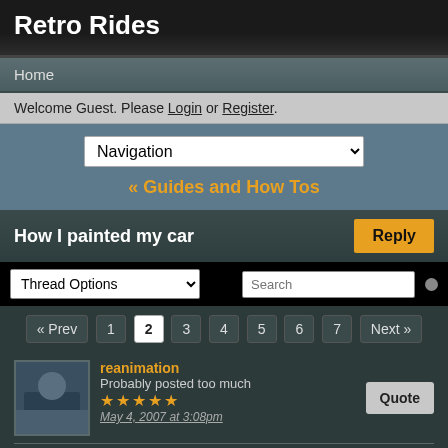Retro Rides
Home
Welcome Guest. Please Login or Register.
Navigation
« Guides and How Tos
How I painted my car
Thread Options | Search
« Prev  1  2  3  4  5  6  7  Next »
reanimation
Probably posted too much
★★★★★
May 4, 2007 at 3:08pm
Well i'm propper sold on the Idea, CBA on MR2 1 but No2 and other stuff i despirately fancy doing 😁
Nathan
Club Retro Rides Member